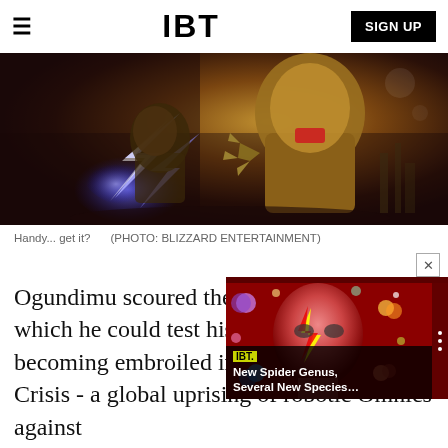IBT  SIGN UP
[Figure (photo): Video game screenshot showing two armored characters fighting, one with blue lightning effects, dark dramatic background]
Handy... get it?   (PHOTO: BLIZZARD ENTERTAINMENT)
[Figure (photo): IBT overlay widget showing a person with face paint on red background with orbiting planets, headline: New Spider Genus, Several New Species...]
Ogundimu scoured the globe for opponents against which he could test his might. Eventually becoming embroiled in the Omnic Crisis - a global uprising of robotic Omnics against their human creators - he lost his right arm in the